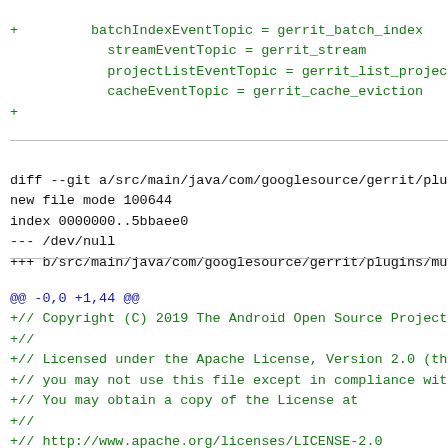+         batchIndexEventTopic = gerrit_batch_index
            streamEventTopic = gerrit_stream
            projectListEventTopic = gerrit_list_project
            cacheEventTopic = gerrit_cache_eviction
+
diff --git a/src/main/java/com/googlesource/gerrit/plu
new file mode 100644
index 0000000..5bbaee0
--- /dev/null
+++ b/src/main/java/com/googlesource/gerrit/plugins/mu
@@ -0,0 +1,44 @@
+// Copyright (C) 2019 The Android Open Source Project
+//
+// Licensed under the Apache License, Version 2.0 (th
+// you may not use this file except in compliance wit
+// You may obtain a copy of the License at
+//
+// http://www.apache.org/licenses/LICENSE-2.0
+//
+// Unless required by applicable law or agreed to in